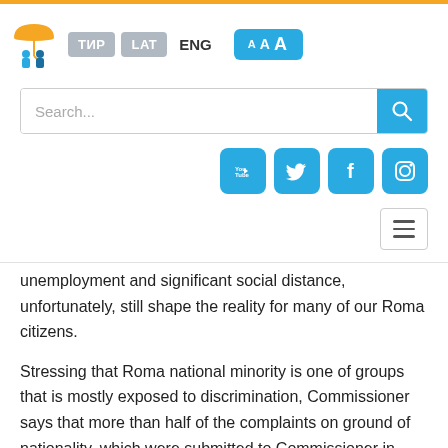[Figure (screenshot): Website header with logo (umbrella with people), language navigation buttons (ТИР, LAT, ENG), font-size selector (AAA), search bar, social media icons (YouTube, Twitter, Facebook, Instagram), and hamburger menu button]
unemployment and significant social distance, unfortunately, still shape the reality for many of our Roma citizens.
Stressing that Roma national minority is one of groups that is mostly exposed to discrimination, Commissioner says that more than half of the complaints on ground of nationality, which were submitted to Commissioner in 2017, was related to discrimination of Roma population. The greatest number of these complaints correlated to proceeding before public authorities and in the employment process or at work. She